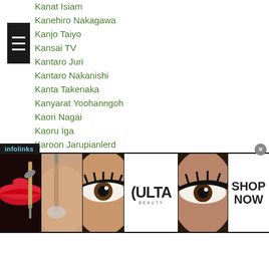Kanat Isiam
Kanehiro Nakagawa
Kanjo Taiyo
Kansai TV
Kantaro Juri
Kantaro Nakanishi
Kanta Takenaka
Kanyarat Yoohanngoh
Kaori Nagai
Kaoru Iga
Karoon Jarupianlerd
Kasumi Saeki
Katsuhiro Nakata
Katsuki Mori
Katsunari Takayama
Katsunori Endo
...ri Nagamine
[Figure (screenshot): Ulta Beauty advertisement banner with makeup images and SHOP NOW call to action]